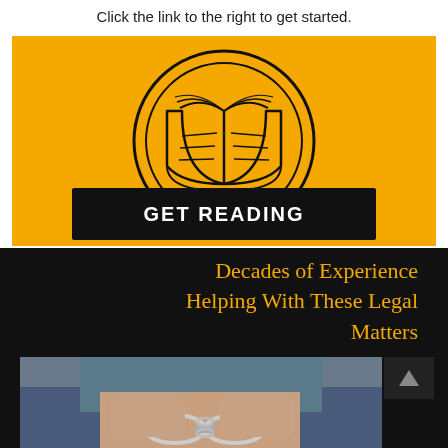Click the link to the right to get started.
[Figure (illustration): Yellow background panel with open book icon inside a circle and a black button labeled GET READING]
Decades of Experience Helping With These Legal Matters
[Figure (photo): Photo of a person with hands behind back in handcuffs, criminal law theme]